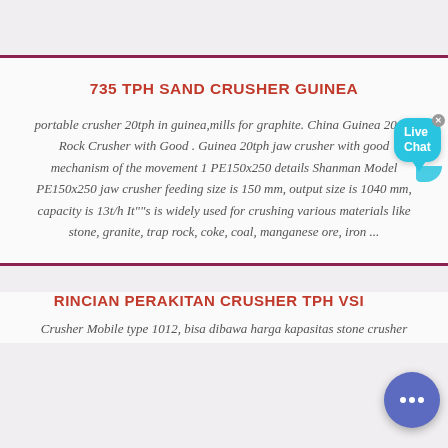735 TPH SAND CRUSHER GUINEA
portable crusher 20tph in guinea,mills for graphite. China Guinea 20tph Rock Crusher with Good . Guinea 20tph jaw crusher with good mechanism of the movement 1 PE150x250 details Shanman Model PE150x250 jaw crusher feeding size is 150 mm, output size is 1040 mm, capacity is 13t/h It""s is widely used for crushing various materials like stone, granite, trap rock, coke, coal, manganese ore, iron ...
RINCIAN PERAKITAN CRUSHER TPH VSI
Crusher Mobile type 1012, bisa dibawa harga kapasitas stone crusher